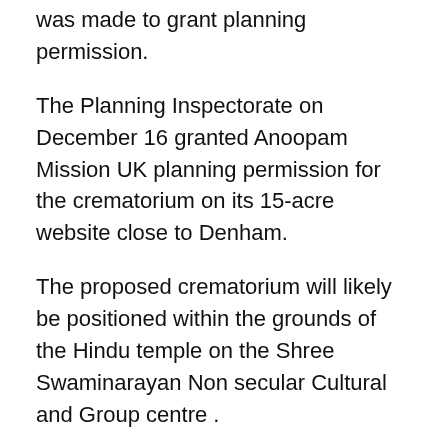was made to grant planning permission.
The Planning Inspectorate on December 16 granted Anoopam Mission UK planning permission for the crematorium on its 15-acre website close to Denham.
The proposed crematorium will likely be positioned within the grounds of the Hindu temple on the Shree Swaminarayan Non secular Cultural and Group centre .
In its letter to Buckinghamshire Council, when making the unique software, Satish Chatwani, worldwide president of the Anoopam Mission UK, wrote………..
“Cemeteries are offered throughout the nation for the Muslim and Jewish communities to bury and honour their lifeless as befits their beliefs; that there isn’t any such provision for Hindus to correctly perform this final act of